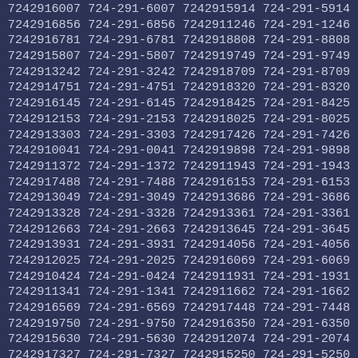7242916007 724-291-6007 7242915914 724-291-5914
7242916856 724-291-6856 7242911246 724-291-1246
7242916781 724-291-6781 7242918808 724-291-8808
7242915807 724-291-5807 7242919749 724-291-9749
7242913242 724-291-3242 7242918709 724-291-8709
7242914751 724-291-4751 7242918320 724-291-8320
7242916145 724-291-6145 7242918425 724-291-8425
7242912153 724-291-2153 7242918025 724-291-8025
7242913303 724-291-3303 7242917426 724-291-7426
7242910041 724-291-0041 7242919898 724-291-9898
7242911372 724-291-1372 7242911943 724-291-1943
7242917488 724-291-7488 7242916153 724-291-6153
7242913049 724-291-3049 7242913686 724-291-3686
7242913328 724-291-3328 7242913361 724-291-3361
7242912663 724-291-2663 7242913645 724-291-3645
7242913931 724-291-3931 7242914056 724-291-4056
7242912025 724-291-2025 7242916069 724-291-6069
7242910424 724-291-0424 7242911931 724-291-1931
7242911341 724-291-1341 7242911662 724-291-1662
7242916569 724-291-6569 7242917448 724-291-7448
7242919750 724-291-9750 7242916350 724-291-6350
7242915630 724-291-5630 7242912074 724-291-2074
7242917327 724-291-7327 7242915250 724-291-5250
7242918548 724-291-8548 7242914760 724-291-4760
7242918185 724-291-8185 7242910972 724-291-0972
7242911505 724-291-1505 7242913704 724-291-3704
7242914843 724-291-4843 7242913761 724-291-3761
7242914415 724-291-4415 7242915385 724-291-5385
7242917553 724-291-7553 7242916034 724-291-6034